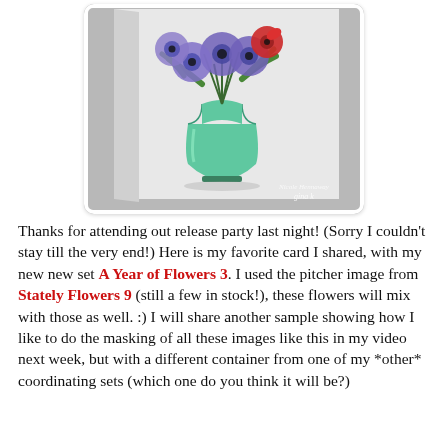[Figure (photo): A handmade greeting card featuring a green pitcher/vase with purple anemone flowers and red flowers with green fern leaves, displayed at an angle on a white/grey surface. Card has a white border and shadow. Watermark text reads 'gina k' at bottom right.]
Thanks for attending out release party last night! (Sorry I couldn't stay till the very end!) Here is my favorite card I shared, with my new new set A Year of Flowers 3. I used the pitcher image from Stately Flowers 9 (still a few in stock!), these flowers will mix with those as well. :) I will share another sample showing how I like to do the masking of all these images like this in my video next week, but with a different container from one of my *other* coordinating sets (which one do you think it will be?)